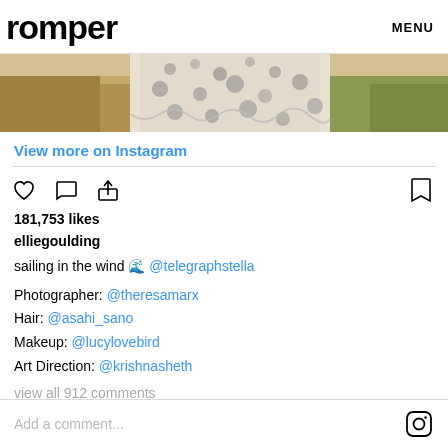romper   MENU
[Figure (photo): Partial photo of a person in a floral/lace dress standing outdoors in a field, cropped to show torso area]
View more on Instagram
181,753 likes
elliegoulding sailing in the wind 🌊 @telegraphstella

Photographer: @theresamarx
Hair: @asahi_sano
Makeup: @lucylovebird
Art Direction: @krishnasheth
view all 912 comments
Add a comment...